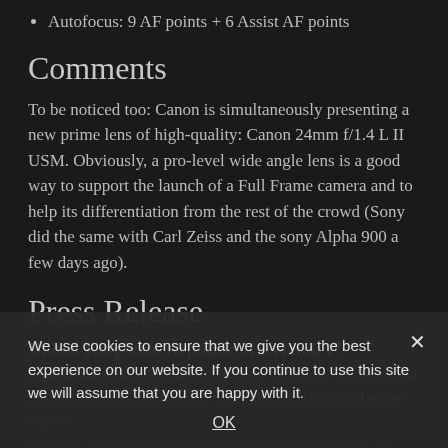Autofocus: 9 AF points + 6 Assist AF points
Comments
To be noticed too: Canon is simultaneously presenting a new prime lens of high-quality: Canon 24mm f/1.4 L II USM. Obviously, a pro-level wide angle lens is a good way to support the launch of a Full Frame camera and to help its differentiation from the rest of the crowd (Sony did the same with Carl Zeiss and the sony Alpha 900 a few days ago).
Press Release
United Kingdom/ Republic of Ireland, 17
September 2008: Canon announces the full frame 21 Megapixel EOS 5D Mark II the first EOS with full High Definition video capa...
Compact, lightweight and with environmental protection, the successor to the EOS 5D has...
We use cookies to ensure that we give you the best experience on our website. If you continue to use this site we will assume that you are happy with it.